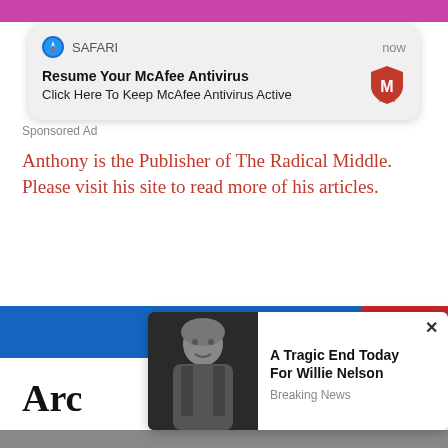[Figure (screenshot): Safari browser notification popup showing McAfee Antivirus ad with title 'Resume Your McAfee Antivirus' and subtitle 'Click Here To Keep McAfee Antivirus Active', with McAfee logo on right]
Sponsored Ad
Anthony is the Publisher of The Radical Middle. Please visit his site to read more of his articles.
[Figure (screenshot): Popup ad showing Willie Nelson photo with headline 'A Tragic End Today For Willie Nelson' and 'Breaking News' label, with X close button]